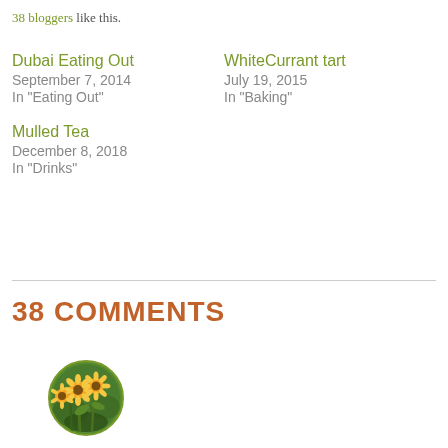38 bloggers like this.
Dubai Eating Out
September 7, 2014
In "Eating Out"
WhiteCurrant tart
July 19, 2015
In "Baking"
Mulled Tea
December 8, 2018
In "Drinks"
38 COMMENTS
[Figure (photo): Circular avatar image showing sunflowers with a green border]